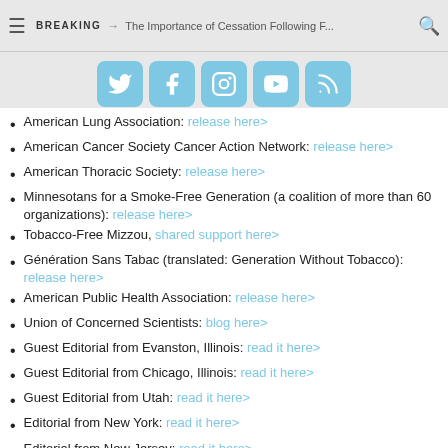BREAKING → The Importance of Cessation Following F...
[Figure (infographic): Social media icons: Twitter, Facebook, Instagram, YouTube, RSS feed — blue rounded square buttons]
American Lung Association: release here>
American Cancer Society Cancer Action Network: release here>
American Thoracic Society: release here>
Minnesotans for a Smoke-Free Generation (a coalition of more than 60 organizations): release here>
Tobacco-Free Mizzou, shared support here>
Génération Sans Tabac (translated: Generation Without Tobacco): release here>
American Public Health Association: release here>
Union of Concerned Scientists: blog here>
Guest Editorial from Evanston, Illinois: read it here>
Guest Editorial from Chicago, Illinois: read it here>
Guest Editorial from Utah: read it here>
Editorial from New York: read it here>
Editorial from New Jersey: read it here>
Editorial from Rhode Island: read it here>
Editorial from Bay Area News Group (California): read it here>
Editorial from professors in Illinois and Virginia: read it here>